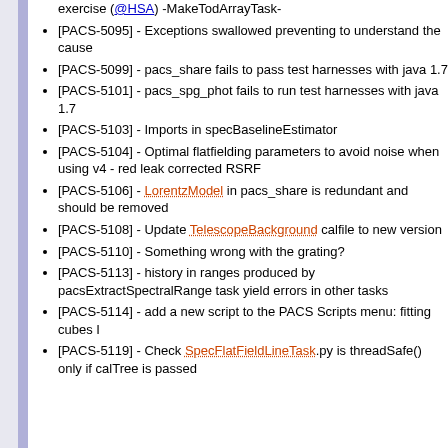exercise (@HSA) -MakeTodArrayTask-
[PACS-5095] - Exceptions swallowed preventing to understand the cause
[PACS-5099] - pacs_share fails to pass test harnesses with java 1.7
[PACS-5101] - pacs_spg_phot fails to run test harnesses with java 1.7
[PACS-5103] - Imports in specBaselineEstimator
[PACS-5104] - Optimal flatfielding parameters to avoid noise when using v4 - red leak corrected RSRF
[PACS-5106] - LorentzModel in pacs_share is redundant and should be removed
[PACS-5108] - Update TelescopeBackground calfile to new version
[PACS-5110] - Something wrong with the grating?
[PACS-5113] - history in ranges produced by pacsExtractSpectralRange task yield errors in other tasks
[PACS-5114] - add a new script to the PACS Scripts menu: fitting cubes I
[PACS-5119] - Check SpecFlatFieldLineTask.py is threadSafe() only if calTree is passed